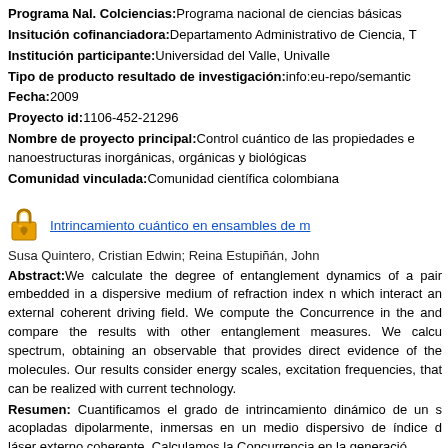Programa Nal. Colciencias: Programa nacional de ciencias básicas
Insitución cofinanciadora: Departamento Administrativo de Ciencia, T
Institución participante: Universidad del Valle, Univalle
Tipo de producto resultado de investigación: info:eu-repo/semantic
Fecha: 2009
Proyecto id: 1106-452-21296
Nombre de proyecto principal: Control cuántico de las propiedades e nanoestructuras inorgánicas, orgánicas y biológicas
Comunidad vinculada: Comunidad científica colombiana
Intrincamiento cuántico en ensambles de m
Susa Quintero, Cristian Edwin; Reina Estupiñán, John
Abstract: We calculate the degree of entanglement dynamics of a pair embedded in a dispersive medium of refraction index n which interact an external coherent driving field. We compute the Concurrence in the and compare the results with other entanglement measures. We calcu spectrum, obtaining an observable that provides direct evidence of the molecules. Our results consider energy scales, excitation frequencies, that can be realized with current technology.
Resumen: Cuantificamos el grado de intrincamiento dinámico de un s acopladas dipolarmente, inmersas en un medio dispersivo de índice d láser externo coherente. Calculamos la Concurrencia en la generació